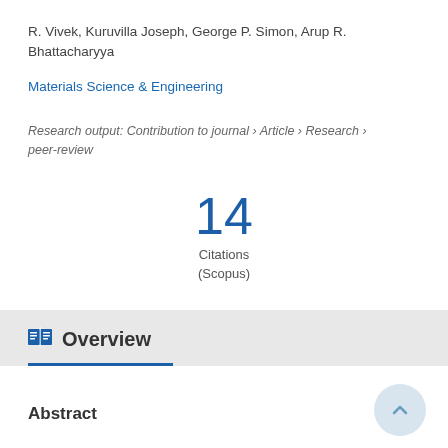R. Vivek, Kuruvilla Joseph, George P. Simon, Arup R. Bhattacharyya
Materials Science & Engineering
Research output: Contribution to journal › Article › Research › peer-review
14
Citations
(Scopus)
Overview
Abstract